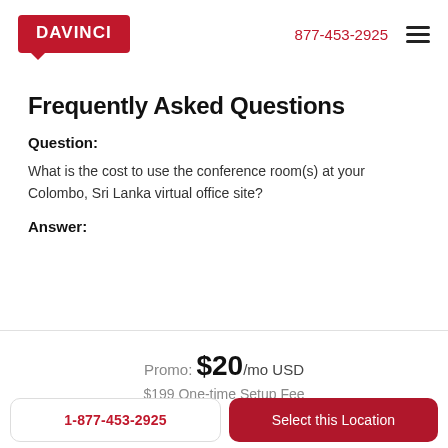DAVINCI | 877-453-2925
Frequently Asked Questions
Question:
What is the cost to use the conference room(s) at your Colombo, Sri Lanka virtual office site?
Answer:
Promo: $20/mo USD
$199 One-time Setup Fee
1-877-453-2925 | Select this Location